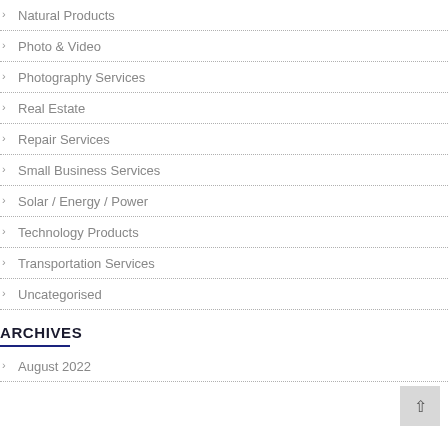Natural Products
Photo & Video
Photography Services
Real Estate
Repair Services
Small Business Services
Solar / Energy / Power
Technology Products
Transportation Services
Uncategorised
ARCHIVES
August 2022